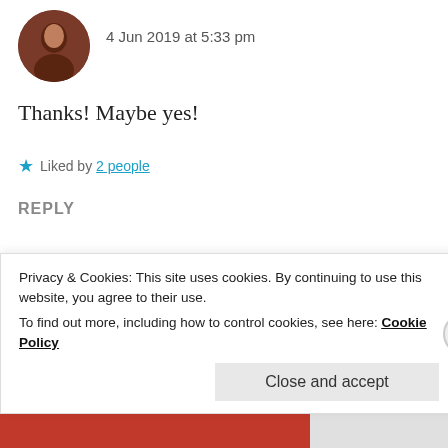4 Jun 2019 at 5:33 pm
Thanks! Maybe yes!
★ Liked by 2 people
REPLY
Find more
Privacy & Cookies: This site uses cookies. By continuing to use this website, you agree to their use.
To find out more, including how to control cookies, see here: Cookie Policy
Close and accept